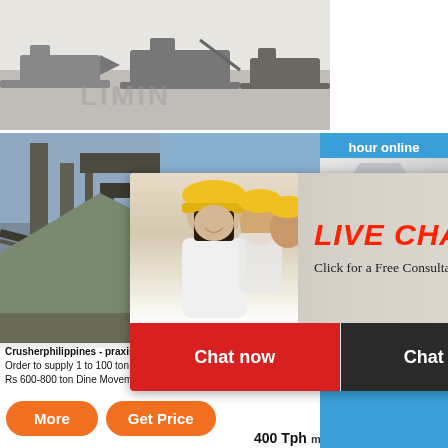[Figure (photo): Top image: construction/mining machinery (mobile crushers) on a light background with partial 'LIMIN' watermark text]
[Figure (photo): Industrial facility background with large steel structure/conveyor, blue sky]
[Figure (screenshot): Live chat popup overlay with three workers in hard hats, red 'LIVE CHAT' title, subtitle 'Click for a Free Consultation', red 'Chat now' and dark 'Chat later' buttons, close X button]
hour online
[Figure (photo): Right sidebar: jaw crusher machine photo on blue background with 'Click me to chat>>' button]
Crusherphilippines - praxis-lacroix.de
Order to supply 1 to 100 ton granite at competitive price us Rs 600-800 ton Dine Movement in the Philippines,
2020-6-jaw have sale developed a Jaw mobile jaw
Jaw Crusher Capacity 400 Tph
More
Get Price
Click me to chat>>
Enquiry
yuwencrusher